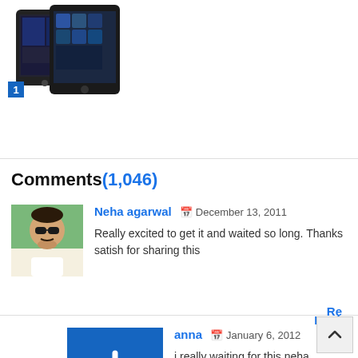[Figure (photo): Two tablets (iPads) shown side by side with number badge 1]
Comments(1,046)
Neha agarwal  December 13, 2011
Really excited to get it and waited so long. Thanks satish for sharing this
Reply
anna  January 6, 2012
i really waiting for this neha
Re